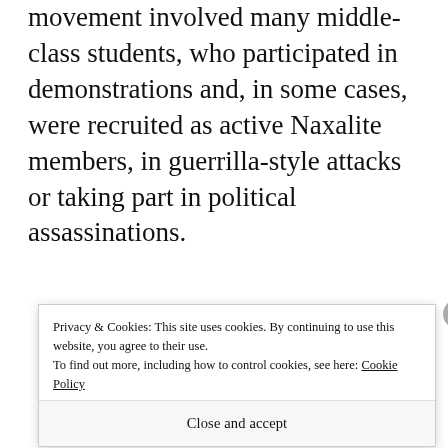movement involved many middle-class students, who participated in demonstrations and, in some cases, were recruited as active Naxalite members, in guerrilla-style attacks or taking part in political assassinations.
[Figure (other): Advertisement banner: 'The Platform Where WordPress Works Best' by Pressable]
The movement was highly controversial and
Privacy & Cookies: This site uses cookies. By continuing to use this website, you agree to their use. To find out more, including how to control cookies, see here: Cookie Policy
Close and accept